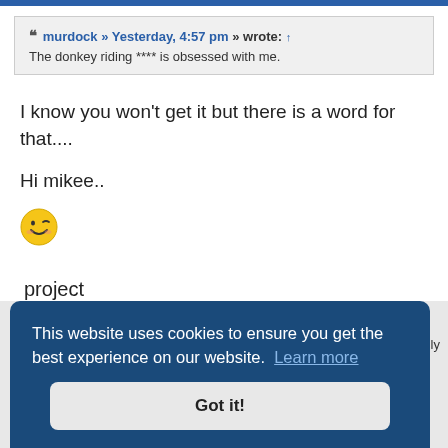murdock » Yesterday, 4:57 pm » wrote: ↑ The donkey riding **** is obsessed with me.
I know you won't get it but there is a word for that....
Hi mikee..
[Figure (illustration): Yellow winking smiley face emoji]
project
This website uses cookies to ensure you get the best experience on our website. Learn more
Got it!
asciously